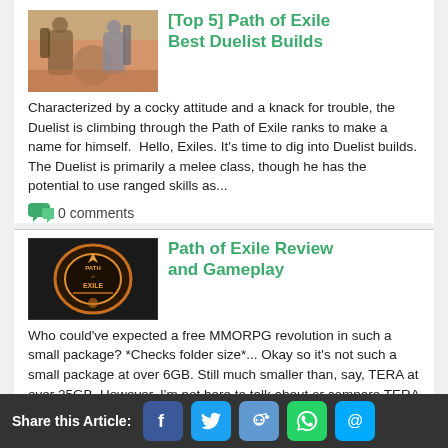[Top 5] Path of Exile Best Duelist Builds
Characterized by a cocky attitude and a knack for trouble, the Duelist is climbing through the Path of Exile ranks to make a name for himself.  Hello, Exiles. It's time to dig into Duelist builds. The Duelist is primarily a melee class, though he has the potential to use ranged skills as...
0 comments
Path of Exile Review and Gameplay
Who could've expected a free MMORPG revolution in such a small package? *Checks folder size*... Okay so it's not such a small package at over 6GB. Still much smaller than, say, TERA at over 25GB. However, I'm not here to talk about or compare TERA to Path of Exile. I'm here to tell you why...
Share this Article: